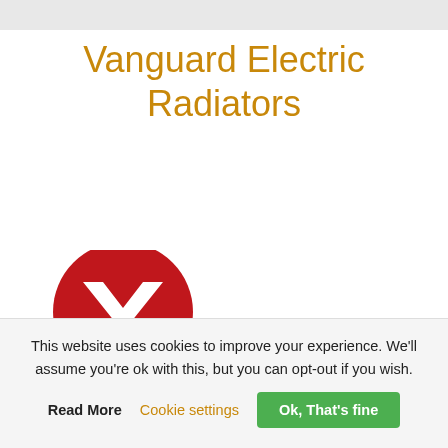Vanguard Electric Radiators
[Figure (logo): Vanguard logo: red circle with white chevron/check mark icon above bold black text 'Vanguard']
This website uses cookies to improve your experience. We'll assume you're ok with this, but you can opt-out if you wish.
Read More   Cookie settings   Ok, That's fine